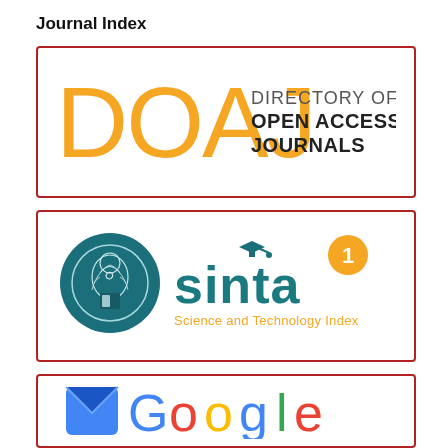Journal Index
[Figure (logo): DOAJ - Directory of Open Access Journals logo. Large orange letters 'DOAJ' on the left, and text 'DIRECTORY OF OPEN ACCESS JOURNALS' on the right in dark gray/black. Enclosed in a dark red border box.]
[Figure (logo): SINTA Science and Technology Index logo. A teal circular emblem with a Garuda/traditional figure on the left, and stylized teal text 'sinta' with an orange circle badge showing '1' superscript, and subtitle 'Science and Technology Index' in orange. Enclosed in a dark red border box.]
[Figure (logo): Google Scholar logo partially visible. Shows a blue envelope/mail icon on the left and the beginning of colorful Google letters. Enclosed in a dark red border box. Only partially shown (cropped at bottom of page).]